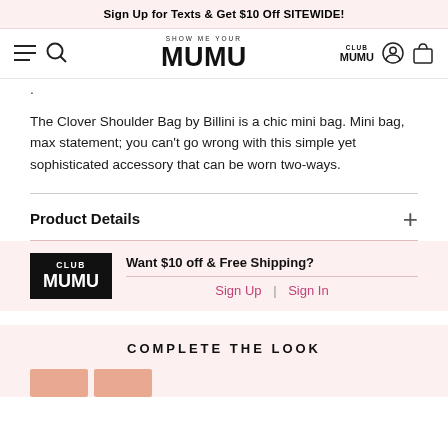Sign Up for Texts & Get $10 Off SITEWIDE!
[Figure (screenshot): Navigation bar with hamburger menu, search icon, Show Me Your MUMU logo, Club MUMU link, user account icon, and shopping bag icon]
The Clover Shoulder Bag by Billini is a chic mini bag. Mini bag, max statement; you can't go wrong with this simple yet sophisticated accessory that can be worn two-ways.
Product Details
[Figure (infographic): Club MUMU promotional banner with black Club MUMU logo box and text 'Want $10 off & Free Shipping?' with Sign Up and Sign In links]
COMPLETE THE LOOK